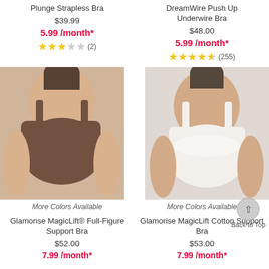Plunge Strapless Bra
$39.99
5.99 /month*
★★★☆☆ (2)
DreamWire Push Up Underwire Bra
$48.00
5.99 /month*
★★★★½ (255)
[Figure (photo): Woman wearing a brown full-figure bra]
More Colors Available
Glamorise MagicLift® Full-Figure Support Bra
$52.00
7.99 /month*
[Figure (photo): Woman wearing a white cotton support bra]
More Colors Available
Glamorise MagicLift Cotton Support Bra
$53.00
7.99 /month*